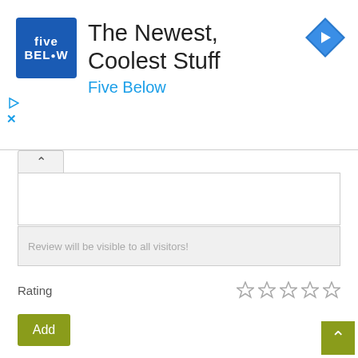[Figure (screenshot): Five Below advertisement banner with logo, headline 'The Newest, Coolest Stuff', subtext 'Five Below', navigation arrow icon, and small ad controls (play and close icons)]
Review will be visible to all visitors!
Rating
[Figure (other): Five empty/unselected star rating icons]
Add